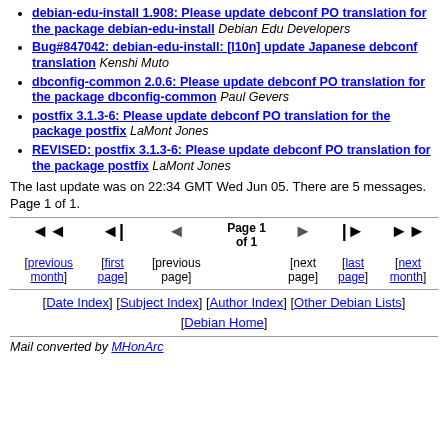debian-edu-install 1.908: Please update debconf PO translation for the package debian-edu-install Debian Edu Developers
Bug#847042: debian-edu-install: [l10n] update Japanese debconf translation Kenshi Muto
dbconfig-common 2.0.6: Please update debconf PO translation for the package dbconfig-common Paul Gevers
postfix 3.1.3-6: Please update debconf PO translation for the package postfix LaMont Jones
REVISED: postfix 3.1.3-6: Please update debconf PO translation for the package postfix LaMont Jones
The last update was on 22:34 GMT Wed Jun 05. There are 5 messages. Page 1 of 1.
Page 1 of 1 navigation with previous month, first page, previous page, next page, last page, next month
[Date Index] [Subject Index] [Author Index] [Other Debian Lists] [Debian Home]
Mail converted by MHonArc